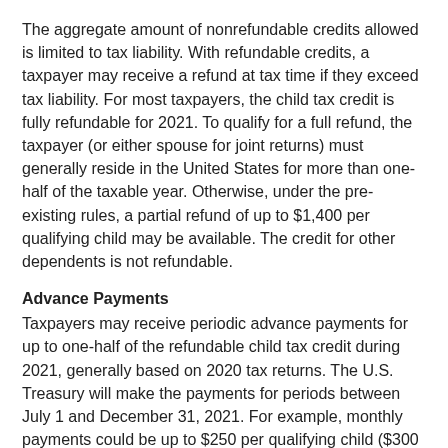The aggregate amount of nonrefundable credits allowed is limited to tax liability. With refundable credits, a taxpayer may receive a refund at tax time if they exceed tax liability. For most taxpayers, the child tax credit is fully refundable for 2021. To qualify for a full refund, the taxpayer (or either spouse for joint returns) must generally reside in the United States for more than one-half of the taxable year. Otherwise, under the pre-existing rules, a partial refund of up to $1,400 per qualifying child may be available. The credit for other dependents is not refundable.
Advance Payments
Taxpayers may receive periodic advance payments for up to one-half of the refundable child tax credit during 2021, generally based on 2020 tax returns. The U.S. Treasury will make the payments for periods between July 1 and December 31, 2021. For example, monthly payments could be up to $250 per qualifying child ($300 per qualifying child under age 6).
Phaseout of Credit